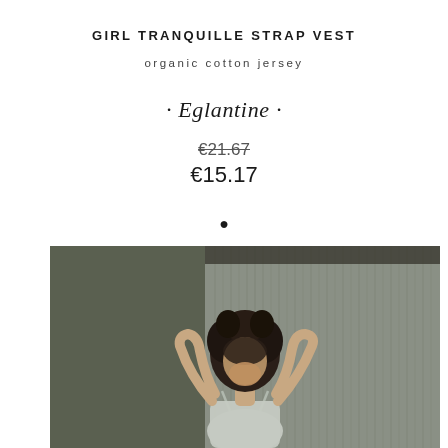GIRL TRANQUILLE STRAP VEST
organic cotton jersey
· Eglantine ·
€21.67
€15.17
•
[Figure (photo): Young girl with curly dark hair wearing a light-colored strap vest, arms raised behind her head, standing against a striped/textured wall in muted green tones]